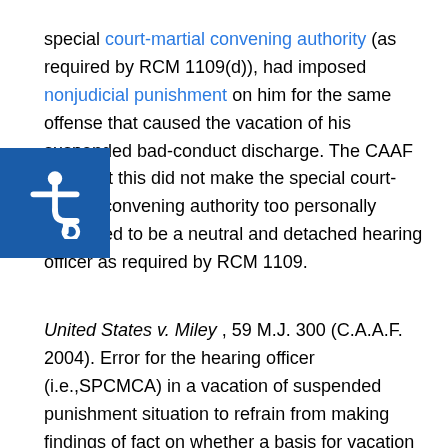special court-martial convening authority (as required by RCM 1109(d)), had imposed nonjudicial punishment on him for the same offense that caused the vacation of his suspended bad-conduct discharge. The CAAF held that this did not make the special court-martial convening authority too personally interested to be a neutral and detached hearing officer as required by RCM 1109.
United States v. Miley , 59 M.J. 300 (C.A.A.F. 2004). Error for the hearing officer (i.e.,SPCMCA) in a vacation of suspended punishment situation to refrain from making findings of fact on whether a basis for vacation existed. The hearing officer's decision, pursuant to RCM 1109, must include an evaluation of the contested facts and a determination of whether the facts warrant vacation. A decision based solely on equitable grounds is improper. Error for the GCMCA to vacate the suspended punishment when the hearing officer failed to comply with RCM